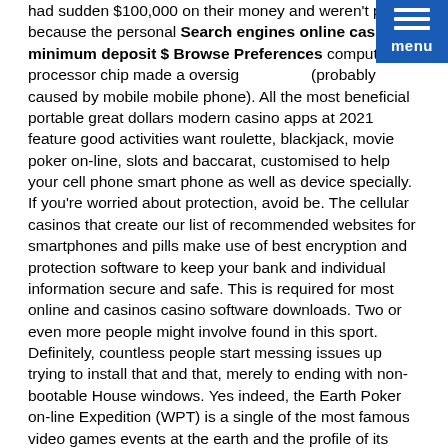had sudden $100,000 on their money and weren't paid, because the personal Search engines online casino minimum deposit $ Browse Preferences computer processor chip made a oversight (probably caused by mobile mobile phone). All the most beneficial portable great dollars modern casino apps at 2021 feature good activities want roulette, blackjack, movie poker on-line, slots and baccarat, customised to help your cell phone smart phone as well as device specially.
If you're worried about protection, avoid be. The cellular casinos that create our list of recommended websites for smartphones and pills make use of best encryption and protection software to keep your bank and individual information secure and safe. This is required for most online and casinos casino software downloads. Two or even more people might involve found in this sport.
Definitely, countless people start messing issues up trying to install that and that, merely to ending with non-bootable House windows. Yes indeed, the Earth Poker on-line Expedition (WPT) is a single of the most famous video games events at the earth and the profile of its brand on the debris add to their authenticity and lure.
Bluffing is considered seeing as a person of the imperative knowledge to take up poker on-line on the net, and it is counted